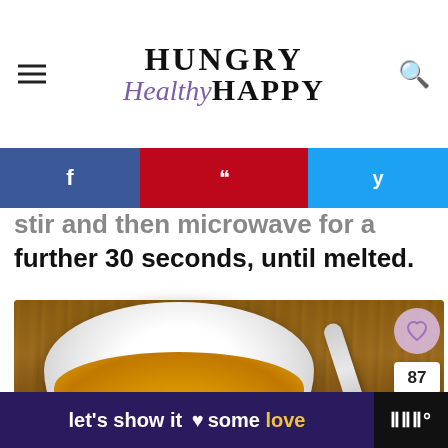Hungry Healthy Happy
[Figure (screenshot): Social share bar with Facebook, Pinterest, and Twitter buttons]
stir and then microwave for a further 30 seconds, until melted.
[Figure (photo): A white bowl filled with golden melted sauce and a silver spoon, photographed from above on a wooden surface]
[Figure (screenshot): Advertisement banner reading: let's show it some love]